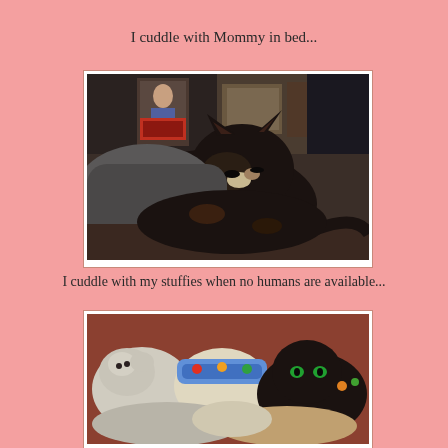I cuddle with Mommy in bed...
[Figure (photo): A tortoiseshell cat cuddled up and sleeping on a bed with dark blankets and pillows, with a cluttered shelf visible in the background containing photos and decorative items.]
I cuddle with my stuffies when no humans are available...
[Figure (photo): A dark cat cuddled among several stuffed animals/plush toys on what appears to a reddish-brown surface.]